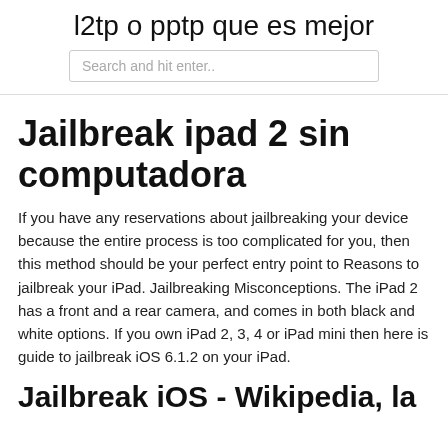l2tp o pptp que es mejor
[Figure (other): Search input box with placeholder text 'Search and hit enter..']
Jailbreak ipad 2 sin computadora
If you have any reservations about jailbreaking your device because the entire process is too complicated for you, then this method should be your perfect entry point to Reasons to jailbreak your iPad. Jailbreaking Misconceptions. The iPad 2 has a front and a rear camera, and comes in both black and white options. If you own iPad 2, 3, 4 or iPad mini then here is guide to jailbreak iOS 6.1.2 on your iPad.
Jailbreak iOS - Wikipedia, la